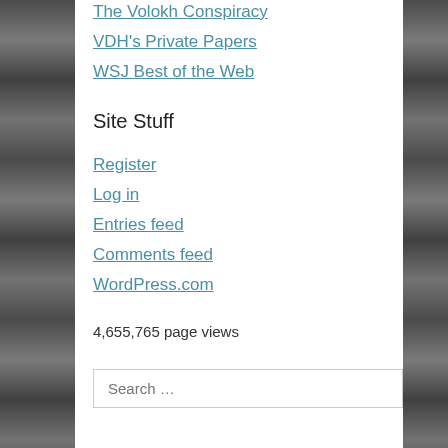The Volokh Conspiracy
VDH's Private Papers
WSJ Best of the Web
Site Stuff
Register
Log in
Entries feed
Comments feed
WordPress.com
4,655,765 page views
Search …